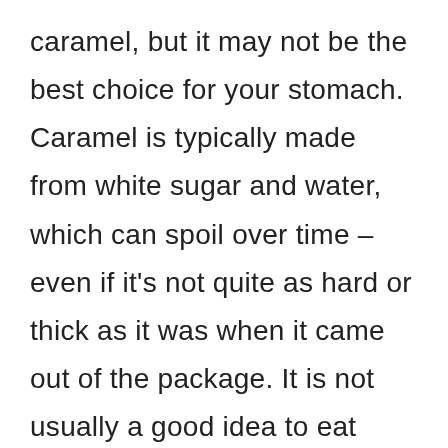caramel, but it may not be the best choice for your stomach. Caramel is typically made from white sugar and water, which can spoil over time – even if it's not quite as hard or thick as it was when it came out of the package. It is not usually a good idea to eat expired caramel. It might be yummy and it tastes sweet, but the sugar might start to ferment in your stomach and cause an upset stomach or diarrhea. The color of